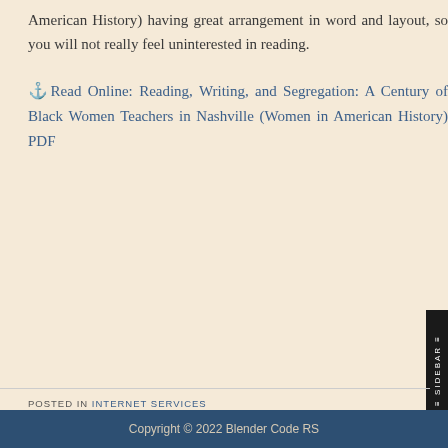American History) having great arrangement in word and layout, so you will not really feel uninterested in reading.
⚓Read Online: Reading, Writing, and Segregation: A Century of Black Women Teachers in Nashville (Women in American History) PDF
POSTED IN INTERNET SERVICES
WOMEN LEADERSHIP AROUND WORLD MADSEN PDF A1B7A2BA2
WOMEN SOCIAL ACTION TELECOURSE STUDY PDF 707C85511
Copyright © 2022 Blender Code RS